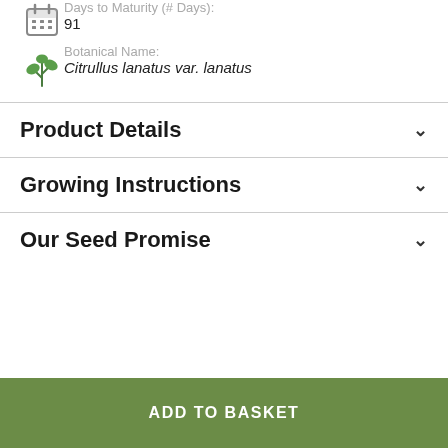Days to Maturity (# Days):
91
Botanical Name:
Citrullus lanatus var. lanatus
Product Details
Growing Instructions
Our Seed Promise
ADD TO BASKET